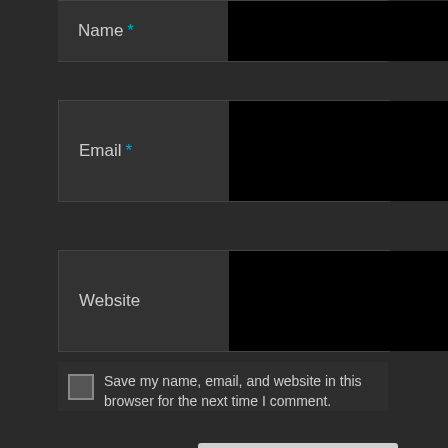[Figure (screenshot): Partial form field showing 'Name' label with blue asterisk and black input area, partially cropped at top]
[Figure (screenshot): Form field showing 'Email' label with blue asterisk and black input area]
[Figure (screenshot): Form field showing 'Website' label and black input area]
Save my name, email, and website in this browser for the next time I comment.
Post Comment
Proudly powered by WordPress